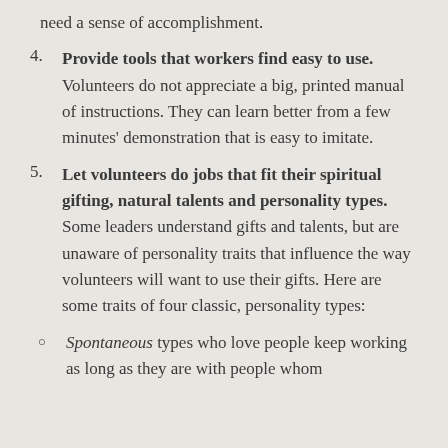need a sense of accomplishment.
4. Provide tools that workers find easy to use. Volunteers do not appreciate a big, printed manual of instructions. They can learn better from a few minutes' demonstration that is easy to imitate.
5. Let volunteers do jobs that fit their spiritual gifting, natural talents and personality types. Some leaders understand gifts and talents, but are unaware of personality traits that influence the way volunteers will want to use their gifts. Here are some traits of four classic, personality types:
Spontaneous types who love people keep working as long as they are with people whom